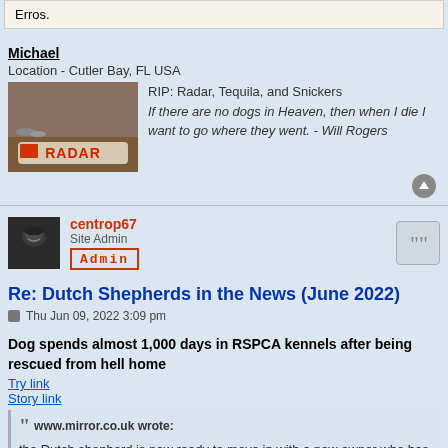Erros.
Michael
Location - Cutler Bay, FL USA
RIP: Radar, Tequila, and Snickers
If there are no dogs in Heaven, then when I die I want to go where they went. - Will Rogers
centrop67
Site Admin
Admin
Re: Dutch Shepherds in the News (June 2022)
Thu Jun 09, 2022 3:09 pm
Dog spends almost 1,000 days in RSPCA kennels after being rescued from hell home
Try link
Story link
This website uses cookies to ensure you get the best experience on our website. Learn more
www.mirror.co.uk wrote:
the Dutch shepherd is now ready to move in with a new owner who has the time an patience to teach him everything he needs to know.
Got it!
Michael